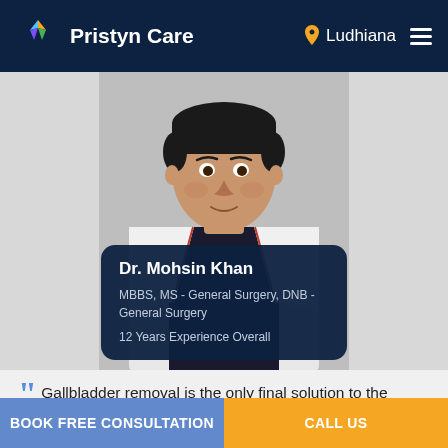Pristyn Care — Ludhiana
[Figure (photo): Portrait photo of Dr. Mohsin Khan wearing a white doctor's coat over a dark shirt, with an info card overlay showing his name, qualifications, and experience]
Dr. Mohsin Khan
MBBS, MS - General Surgery, DNB - General Surgery
12 Years Experience Overall
Gallbladder removal is the only final solution to the problem of gallstones. But many a times, I come across patients who fear the surgery and look for ways to
BOOK FREE CONSULTATION
CALL US